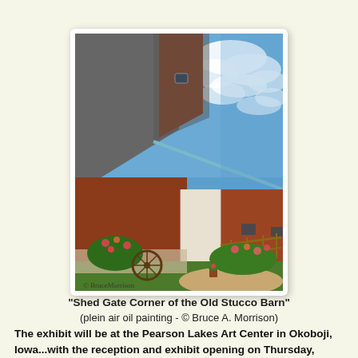[Figure (photo): Oil painting of a red barn with a white sliding door, a peaked roof with gray shingles, blue sky with clouds, garden flowers and a wagon wheel in the foreground. Artist signature at bottom left. Painting is shown with a white border and drop shadow.]
"Shed Gate Corner of the Old Stucco Barn" (plein air oil painting - © Bruce A. Morrison)
The exhibit will be at the Pearson Lakes Art Center in Okoboji, Iowa...with the reception and exhibit opening on Thursday, October